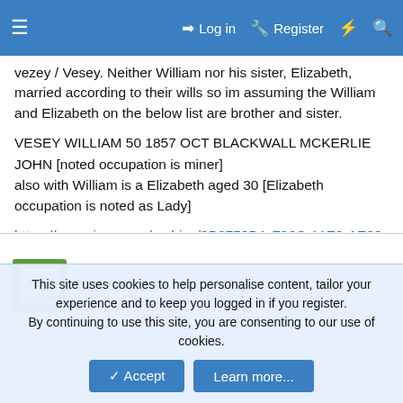≡  Log in  Register  ⚡  🔍
vezey / Vesey. Neither William nor his sister, Elizabeth, married according to their wills so im assuming the William and Elizabeth on the below list are brother and sister.
VESEY WILLIAM 50 1857 OCT BLACKWALL MCKERLIE JOHN [noted occupation is miner]
also with William is a Elizabeth aged 30 [Elizabeth occupation is noted as Lady]
https://prov.vic.gov.au/archive/3B0750BA-F96C-11E9-AE98-19084F8A768F?image=135
.
Last edited: 9 January 2022
DaveHam9
This site uses cookies to help personalise content, tailor your experience and to keep you logged in if you register.
By continuing to use this site, you are consenting to our use of cookies.
Accept  Learn more...